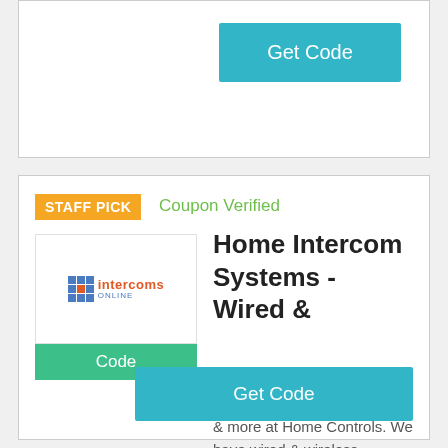Get Code
STAFF PICK
Coupon Verified
[Figure (logo): Intercoms Online logo with grid icon]
Code
Home Intercom Systems - Wired &
Find home intercom systems, video door intercom systems & more at Home Controls. We have wired & wireless intercoms to let you communicate around your home.
Get Code